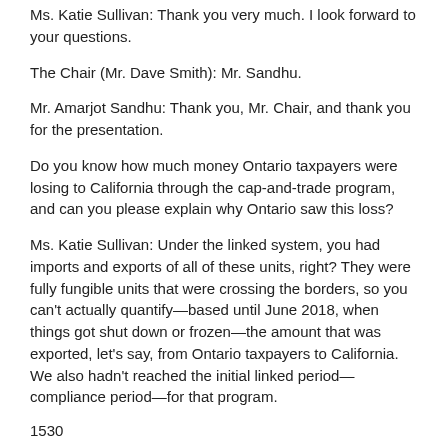Ms. Katie Sullivan: Thank you very much. I look forward to your questions.
The Chair (Mr. Dave Smith): Mr. Sandhu.
Mr. Amarjot Sandhu: Thank you, Mr. Chair, and thank you for the presentation.
Do you know how much money Ontario taxpayers were losing to California through the cap-and-trade program, and can you please explain why Ontario saw this loss?
Ms. Katie Sullivan: Under the linked system, you had imports and exports of all of these units, right? They were fully fungible units that were crossing the borders, so you can't actually quantify—based until June 2018, when things got shut down or frozen—the amount that was exported, let's say, from Ontario taxpayers to California. We also hadn't reached the initial linked period—compliance period—for that program.
1530